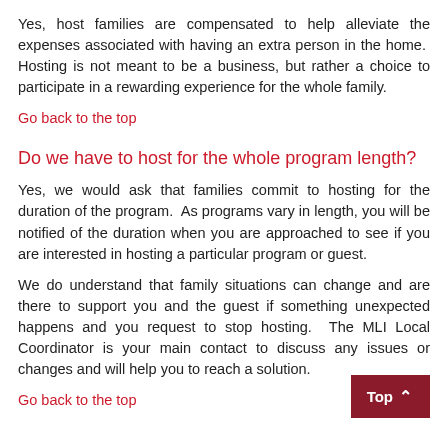Yes, host families are compensated to help alleviate the expenses associated with having an extra person in the home.  Hosting is not meant to be a business, but rather a choice to participate in a rewarding experience for the whole family.
Go back to the top
Do we have to host for the whole program length?
Yes, we would ask that families commit to hosting for the duration of the program.  As programs vary in length, you will be notified of the duration when you are approached to see if you are interested in hosting a particular program or guest.
We do understand that family situations can change and are there to support you and the guest if something unexpected happens and you request to stop hosting.  The MLI Local Coordinator is your main contact to discuss any issues or changes and will help you to reach a solution.
Go back to the top